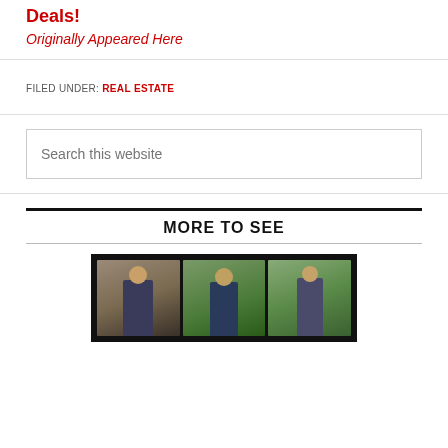Deals!
Originally Appeared Here
FILED UNDER: REAL ESTATE
Search this website
MORE TO SEE
[Figure (photo): Photo collage showing three people in different outdoor and indoor settings against a dark background]